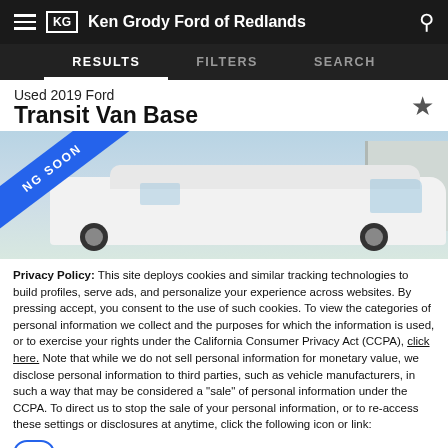Ken Grody Ford of Redlands
RESULTS   FILTERS   SEARCH
Used 2019 Ford Transit Van Base
[Figure (photo): Side view of a white Ford Transit Van with a blue 'COMING SOON' ribbon overlay in top-left corner]
Privacy Policy: This site deploys cookies and similar tracking technologies to build profiles, serve ads, and personalize your experience across websites. By pressing accept, you consent to the use of such cookies. To view the categories of personal information we collect and the purposes for which the information is used, or to exercise your rights under the California Consumer Privacy Act (CCPA), click here. Note that while we do not sell personal information for monetary value, we disclose personal information to third parties, such as vehicle manufacturers, in such a way that may be considered a "sale" of personal information under the CCPA. To direct us to stop the sale of your personal information, or to re-access these settings or disclosures at anytime, click the following icon or link:
Do Not Sell My Personal Information
Language: English
Powered by ComplyAuto
Accept and Continue →   California Privacy Disclosures